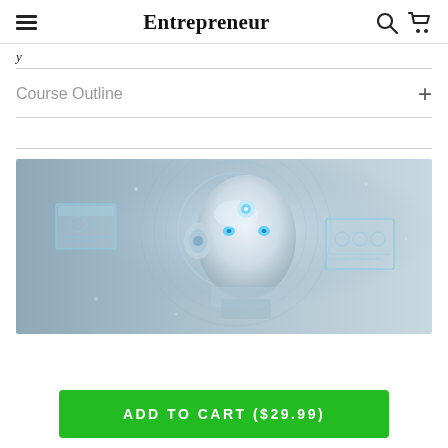Entrepreneur
y
Course Outline +
[Figure (photo): AI humanoid robot face with glowing blue eyes and holographic digital interface overlays on a grey background]
ADD TO CART ($29.99)